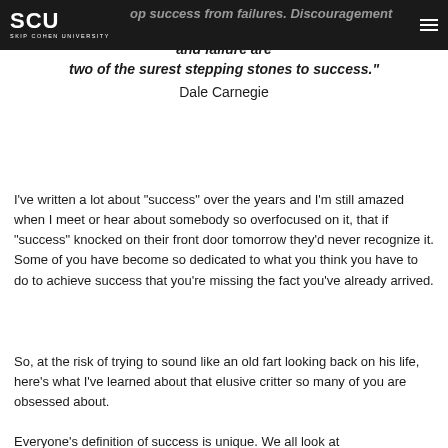SCU SKIP COHEN UNIVERSITY
op success from failures. Discouragement and failure are two of the surest stepping stones to success." Dale Carnegie
I've written a lot about "success" over the years and I'm still amazed when I meet or hear about somebody so overfocused on it, that if "success" knocked on their front door tomorrow they'd never recognize it. Some of you have become so dedicated to what you think you have to do to achieve success that you're missing the fact you've already arrived.
So, at the risk of trying to sound like an old fart looking back on his life, here's what I've learned about that elusive critter so many of you are obsessed about.
Everyone's definition of success is unique. We all look at